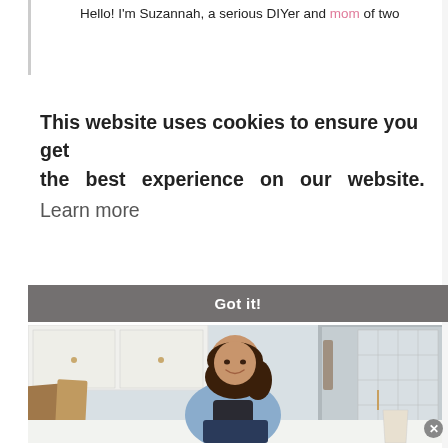Hello! I'm Suzannah, a serious DIYer and mom of two
This website uses cookies to ensure you get the best experience on our website. Learn more
Got it!
[Figure (photo): A smiling woman with dark hair wearing a denim jacket sitting on a kitchen counter. Wooden cutting boards are visible on the left, white cabinetry and a refrigerator in the background.]